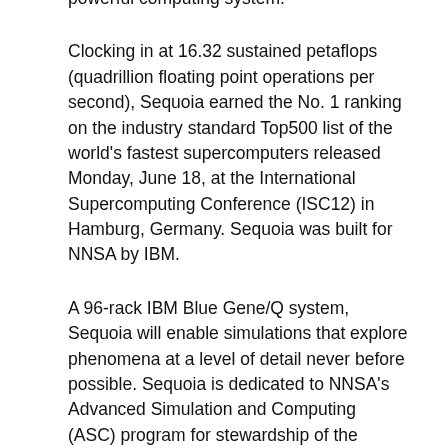powerful computing system.
Clocking in at 16.32 sustained petaflops (quadrillion floating point operations per second), Sequoia earned the No. 1 ranking on the industry standard Top500 list of the world's fastest supercomputers released Monday, June 18, at the International Supercomputing Conference (ISC12) in Hamburg, Germany. Sequoia was built for NNSA by IBM.
A 96-rack IBM Blue Gene/Q system, Sequoia will enable simulations that explore phenomena at a level of detail never before possible. Sequoia is dedicated to NNSA's Advanced Simulation and Computing (ASC) program for stewardship of the nation's nuclear weapons stockpile, a joint effort from LLNL, Los Alamos National Laboratory and Sandia National Laboratories.
“Computing platforms like Sequoia help the United States keep its nuclear stockpile safe, secure and effective without the need for underground testing,” NNSA Administrator Thomas D’Agostino said. “While Sequoia may be the fastest, the underlying computing capabilities it provides give us